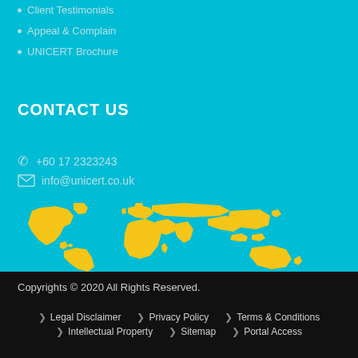Client Testimonials
Appeal & Complain
UNICERT Brochure
CONTACT US
+60 17 2323243
info@unicert.co.uk
[Figure (illustration): Yellow world map illustration on teal background]
Copyrights © 2020 All Rights Reserved.
Legal Disclaimer
Privacy Policy
Terms & Conditions
Intellectual Property
Sitemap
Portal Access